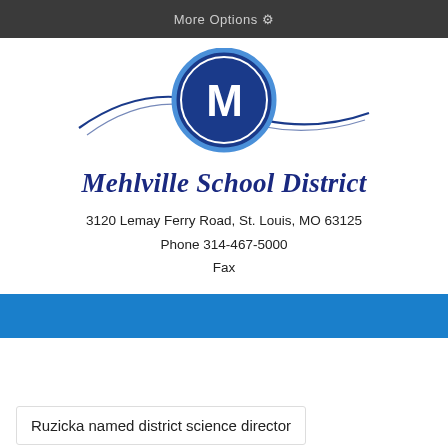More Options ⚙
[Figure (logo): Mehlville School District logo: blue circle with letter M, flanked by sweeping blue arc lines]
Mehlville School District
3120 Lemay Ferry Road, St. Louis, MO 63125
Phone 314-467-5000
Fax
Ruzicka named district science director